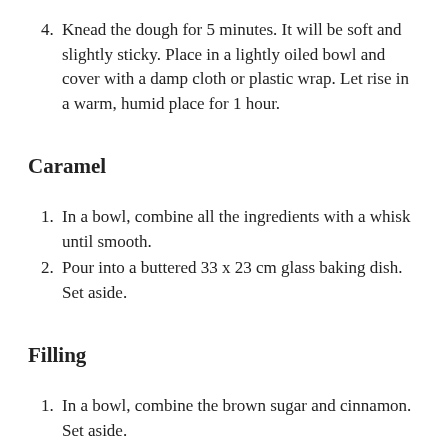4. Knead the dough for 5 minutes. It will be soft and slightly sticky. Place in a lightly oiled bowl and cover with a damp cloth or plastic wrap. Let rise in a warm, humid place for 1 hour.
Caramel
1. In a bowl, combine all the ingredients with a whisk until smooth.
2. Pour into a buttered 33 x 23 cm glass baking dish. Set aside.
Filling
1. In a bowl, combine the brown sugar and cinnamon. Set aside.
2. On a generously floured surface, roll out the